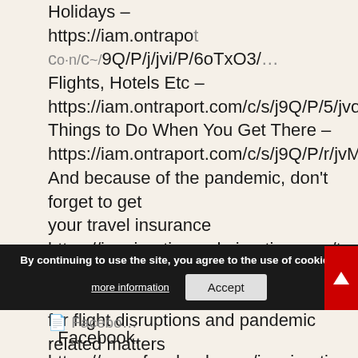Holidays – https://iam.ontraport.com/c/~/9Q/P/j/jvi/P/6oTxO3/
Flights, Hotels Etc – https://iam.ontraport.com/c/s/j9Q/P/5/jvo/P/6oTxO3
Things to Do When You Get There – https://iam.ontraport.com/c/s/j9Q/P/r/jvM/P/6oTxO3
And because of the pandemic, don't forget to get your travel insurance https://immigrationandmigration.com/travel-insurance-amid-coronavirus/ , which will cover you for flight disruptions and pandemic related matters https://iam.ontraport.com/tl/400 .
============================
. Facebook.
https://www.facebook.com/immigrationandmigration